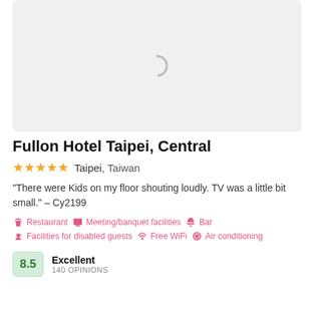[Figure (photo): Loading placeholder with spinner icon for hotel image]
Fullon Hotel Taipei, Central
★★★★★  Taipei, Taiwan
"There were Kids on my floor shouting loudly. TV was a little bit small." - Cy2199
Restaurant  Meeting/banquet facilities  Bar  Facilities for disabled guests  Free WiFi  Air conditioning
Excellent 8.5 140 OPINIONS